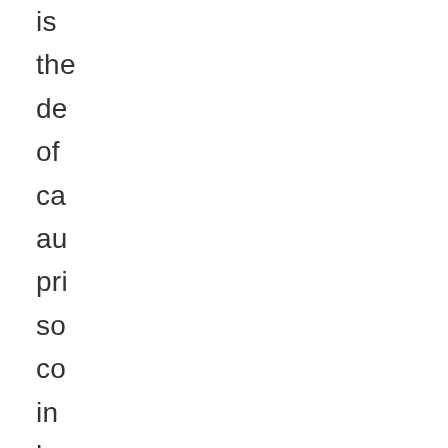is
the
de
of
ca
au
pri
so
co
in
ho
an
air
lou
Pe
thi
is